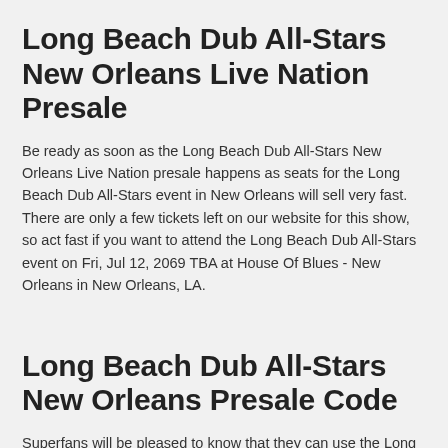Long Beach Dub All-Stars New Orleans Live Nation Presale
Be ready as soon as the Long Beach Dub All-Stars New Orleans Live Nation presale happens as seats for the Long Beach Dub All-Stars event in New Orleans will sell very fast. There are only a few tickets left on our website for this show, so act fast if you want to attend the Long Beach Dub All-Stars event on Fri, Jul 12, 2069 TBA at House Of Blues - New Orleans in New Orleans, LA.
Long Beach Dub All-Stars New Orleans Presale Code
Superfans will be pleased to know that they can use the Long Beach Dub All-Stars New Orleans presale code 412800 at checkout to